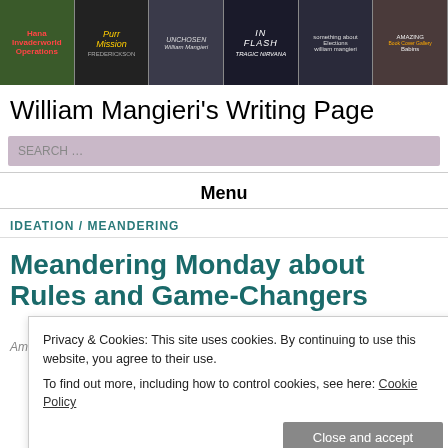[Figure (illustration): Header banner with book cover images for William Mangieri's Writing Page]
William Mangieri's Writing Page
SEARCH …
Menu
IDEATION / MEANDERING
Meandering Monday about Rules and Game-Changers
Privacy & Cookies: This site uses cookies. By continuing to use this website, you agree to their use.
To find out more, including how to control cookies, see here: Cookie Policy
Close and accept
America is a notion of laws – that's been our basic value since…